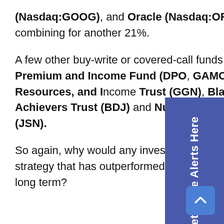(Nasdaq:GOOG), and Oracle (Nasdaq:ORCL) combining for another 21%.
A few other buy-write or covered-call funds are the Dow 30 Enhanced Premium and Income Fund (DPO), GAMCO Global Gold, Natural Resources, and Income Trust (GGN), BlackRock Enhanced Dividend Achievers Trust (BDJ) and Nuveen Equity Premium Opportunity Fund (JSN).
So again, why would any investor choose to shy away from such a proven income strategy that has outperformed the market and dividend-paying stocks over the long term?